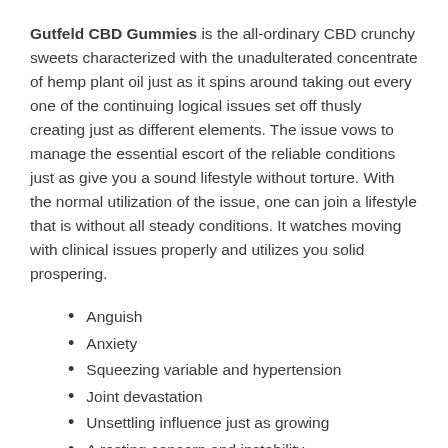Gutfeld CBD Gummies is the all-ordinary CBD crunchy sweets characterized with the unadulterated concentrate of hemp plant oil just as it spins around taking out every one of the continuing logical issues set off thusly creating just as different elements. The issue vows to manage the essential escort of the reliable conditions just as give you a sound lifestyle without torture. With the normal utilization of the issue, one can join a lifestyle that is without all steady conditions. It watches moving with clinical issues properly and utilizes you solid prospering.
Anguish
Anxiety
Squeezing variable and hypertension
Joint devastation
Unsettling influence just as growing
A resting concern and instability